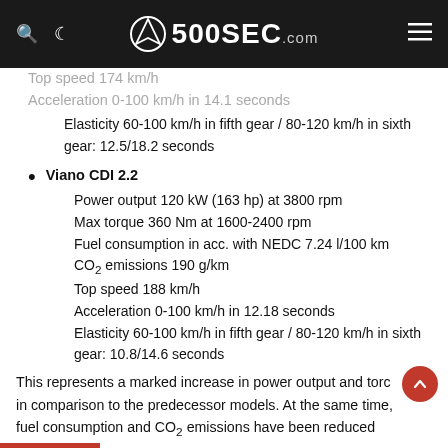500SEC.com
Top speed 174 km/h
Acceleration 0-100 km/h in 14.1 seconds
Elasticity 60-100 km/h in fifth gear / 80-120 km/h in sixth gear: 12.5/18.2 seconds
Viano CDI 2.2
Power output 120 kW (163 hp) at 3800 rpm
Max torque 360 Nm at 1600-2400 rpm
Fuel consumption in acc. with NEDC 7.24 l/100 km
CO2 emissions 190 g/km
Top speed 188 km/h
Acceleration 0-100 km/h in 12.18 seconds
Elasticity 60-100 km/h in fifth gear / 80-120 km/h in sixth gear: 10.8/14.6 seconds
This represents a marked increase in power output and torque in comparison to the predecessor models. At the same time, fuel consumption and CO2 emissions have been reduced